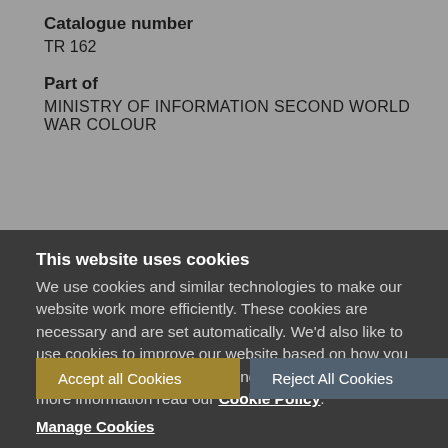Catalogue number
TR 162
Part of
MINISTRY OF INFORMATION SECOND WORLD WAR COLOUR
This website uses cookies
We use cookies and similar technologies to make our website work more efficiently. These cookies are necessary and are set automatically. We'd also like to use cookies to improve our website based on how you use it and to tailor our marketing to your interests. For more information read our Cookie Policy.
Accept all Cookies
Reject All Cookies
Manage Cookies